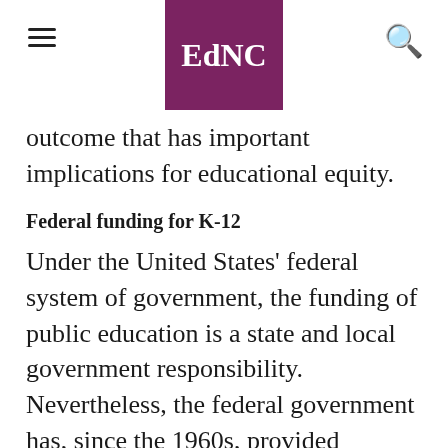EdNC
outcome that has important implications for educational equity.
Federal funding for K-12
Under the United States' federal system of government, the funding of public education is a state and local government responsibility. Nevertheless, the federal government has, since the 1960s, provided various types of statutory and discretionary grants for elementary and secondary education. Federal funding generally aims to promote equal educational access and opportunities for all children, including those who are…